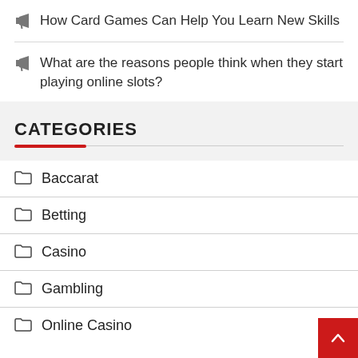How Card Games Can Help You Learn New Skills
What are the reasons people think when they start playing online slots?
CATEGORIES
Baccarat
Betting
Casino
Gambling
Online Casino